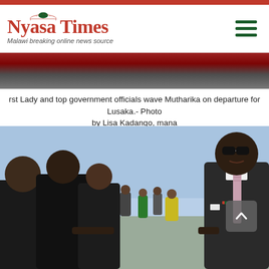Nyasa Times - Malawi breaking online news source
rst Lady and top government officials wave Mutharika on departure for Lusaka.- Photo by Lisa Kadango, mana
[Figure (photo): Photo of President Mutharika in dark suit and sunglasses shaking hands with officials at an airport departure, with other government officials and security personnel visible in the background.]